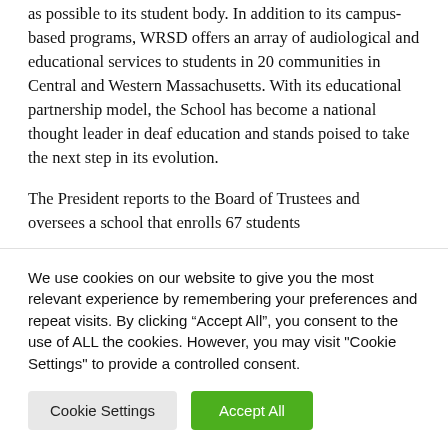as possible to its student body. In addition to its campus-based programs, WRSD offers an array of audiological and educational services to students in 20 communities in Central and Western Massachusetts. With its educational partnership model, the School has become a national thought leader in deaf education and stands poised to take the next step in its evolution.
The President reports to the Board of Trustees and oversees a school that enrolls 67 students...
We use cookies on our website to give you the most relevant experience by remembering your preferences and repeat visits. By clicking “Accept All”, you consent to the use of ALL the cookies. However, you may visit "Cookie Settings" to provide a controlled consent.